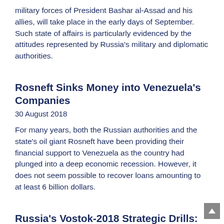military forces of President Bashar al-Assad and his allies, will take place in the early days of September. Such state of affairs is particularly evidenced by the attitudes represented by Russia's military and diplomatic authorities.
Rosneft Sinks Money into Venezuela's Companies
30 August 2018
For many years, both the Russian authorities and the state's oil giant Rosneft have been providing their financial support to Venezuela as the country had plunged into a deep economic recession. However, it does not seem possible to recover loans amounting to at least 6 billion dollars.
Russia's Vostok-2018 Strategic Drills: Too Throne To...